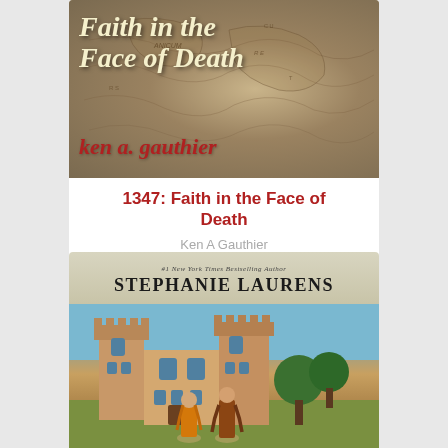[Figure (illustration): Book cover for '1347: Faith in the Face of Death' by Ken A. Gauthier — antique map background with yellow title text and red author name]
1347: Faith in the Face of Death
Ken A Gauthier
[Figure (other): Five grey/silver star rating icons]
[Figure (illustration): Book cover by Stephanie Laurens — castle scene with two figures, author name at top]